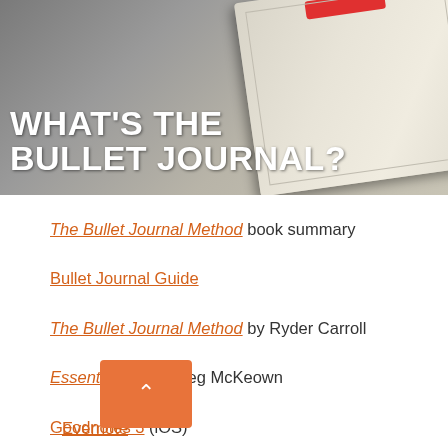[Figure (photo): Hero banner image showing an open notebook/journal on a wooden desk with the text 'WHAT'S THE BULLET JOURNAL?' in bold white uppercase letters overlaid on a dark background]
The Bullet Journal Method book summary
Bullet Journal Guide
The Bullet Journal Method by Ryder Carroll
Essentialism by Greg McKeown
Goodnotes 3 (iOS)
Evernote